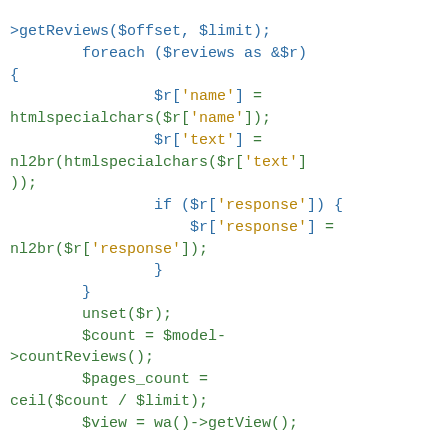Code snippet showing PHP code: getReviews, foreach loop with htmlspecialchars, nl2br, if response block, unset, countReviews, pages_count, ceil, getView